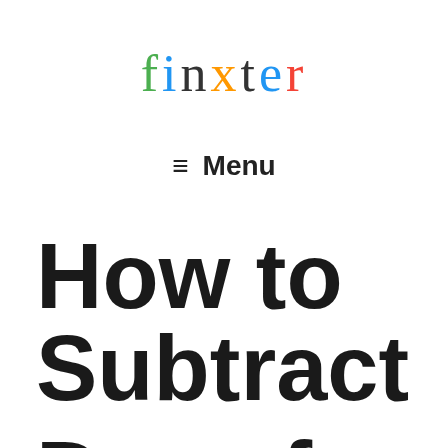finxter
≡ Menu
How to Subtract Days from